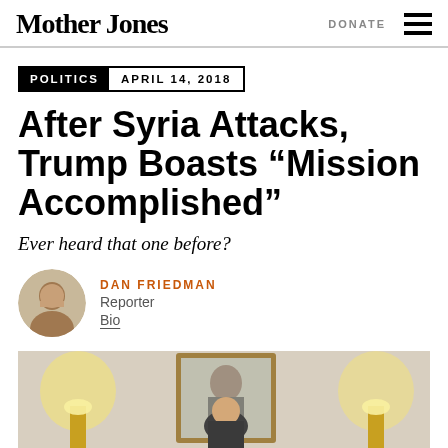Mother Jones
POLITICS  APRIL 14, 2018
After Syria Attacks, Trump Boasts “Mission Accomplished”
Ever heard that one before?
DAN FRIEDMAN
Reporter
Bio
[Figure (photo): Photo of a person in what appears to be a formal room with a portrait on the wall, gold lamp fixtures visible]